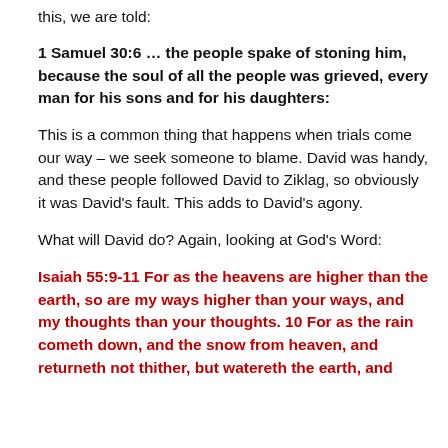this, we are told:
1 Samuel 30:6 … the people spake of stoning him, because the soul of all the people was grieved, every man for his sons and for his daughters:
This is a common thing that happens when trials come our way – we seek someone to blame. David was handy, and these people followed David to Ziklag, so obviously it was David's fault. This adds to David's agony.
What will David do? Again, looking at God's Word:
Isaiah 55:9-11 For as the heavens are higher than the earth, so are my ways higher than your ways, and my thoughts than your thoughts. 10 For as the rain cometh down, and the snow from heaven, and returneth not thither, but watereth the earth, and